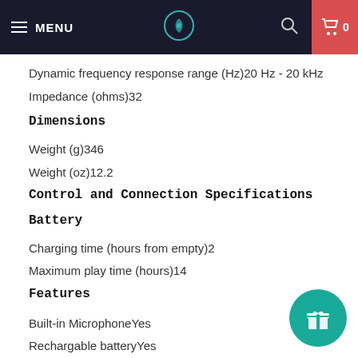MENU | [logo] | [search] | 0
Dynamic frequency response range (Hz)20 Hz - 20 kHz
Impedance (ohms)32
Dimensions
Weight (g)346
Weight (oz)12.2
Control and Connection Specifications
Battery
Charging time (hours from empty)2
Maximum play time (hours)14
Features
Built-in MicrophoneYes
Rechargable batteryYes